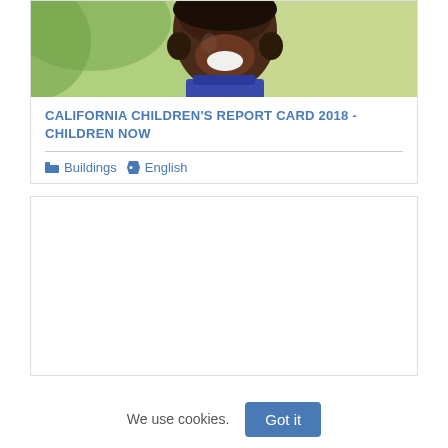[Figure (photo): Close-up photo of a smiling child outdoors with greenery in background]
CALIFORNIA CHILDREN'S REPORT CARD 2018 - CHILDREN NOW
Buildings  English
[Figure (photo): Second card image area, blank/white]
We use cookies.
Got it